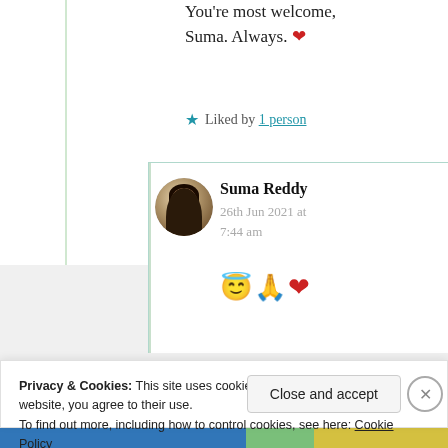You're most welcome, Suma. Always. ❤
★ Liked by 1 person
Suma Reddy
26th Jun 2021 at 7:44 am
😇🙏❤
Privacy & Cookies: This site uses cookies. By continuing to use this website, you agree to their use.
To find out more, including how to control cookies, see here: Cookie Policy
Close and accept